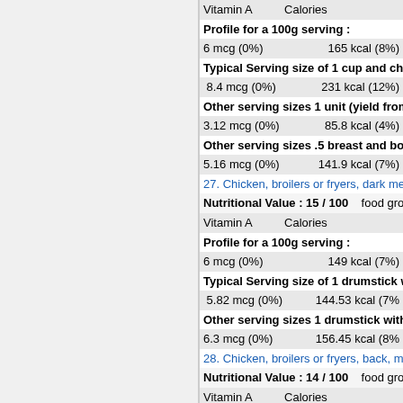Vitamin A   Calories
Profile for a 100g serving :
6 mcg (0%)   165 kcal (8%)
Typical Serving size of 1 cup and cho
8.4 mcg (0%)   231 kcal (12%)
Other serving sizes 1 unit (yield from
3.12 mcg (0%)   85.8 kcal (4%)
Other serving sizes .5 breast and bor
5.16 mcg (0%)   141.9 kcal (7%)
27. Chicken, broilers or fryers, dark mea
Nutritional Value : 15 / 100   food gro
Vitamin A   Calories
Profile for a 100g serving :
6 mcg (0%)   149 kcal (7%)
Typical Serving size of 1 drumstick w
5.82 mcg (0%)   144.53 kcal (7%
Other serving sizes 1 drumstick with
6.3 mcg (0%)   156.45 kcal (8%
28. Chicken, broilers or fryers, back, mea
Nutritional Value : 14 / 100   food gro
Vitamin A   Calories
Profile for a 100g serving :
0 mcg (0%)   239 kcal (12%)
Typical Serving size of 1 unit (yield fr
0 mcg (0%)   57.36 kcal (3%)